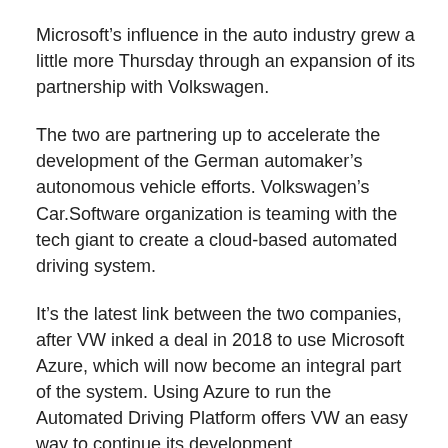Microsoft's influence in the auto industry grew a little more Thursday through an expansion of its partnership with Volkswagen.
The two are partnering up to accelerate the development of the German automaker's autonomous vehicle efforts. Volkswagen's Car.Software organization is teaming with the tech giant to create a cloud-based automated driving system.
It's the latest link between the two companies, after VW inked a deal in 2018 to use Microsoft Azure, which will now become an integral part of the system. Using Azure to run the Automated Driving Platform offers VW an easy way to continue its development.
The first vehicles using the new technology will begin testing later this year. Production of the new system expected launch at some point during 2022, officials said.